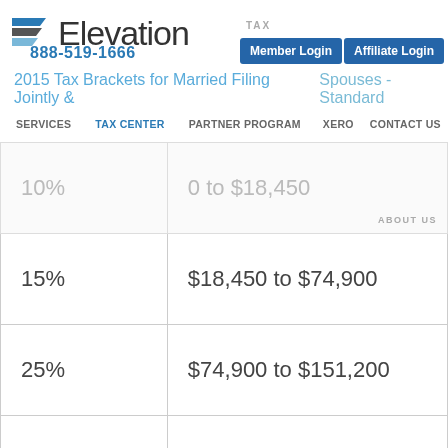Elevation TAX
888-519-1666  Member Login  Affiliate Login
2015 Tax Brackets for Married Filing Jointly & Spouses - Standard
SERVICES  TAX CENTER  PARTNER PROGRAM  XERO  CONTACT US  ABOUT US
| Rate | Income Range |
| --- | --- |
| 10% | 0 to $18,450 |
| 15% | $18,450 to $74,900 |
| 25% | $74,900 to $151,200 |
| 28% | $151,200 to $230,450 |
| 33% | $230,450 to $411,500 |